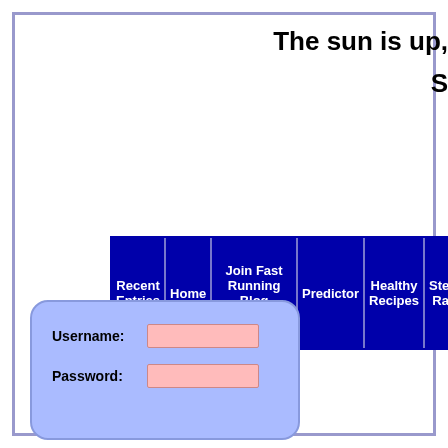The sun is up,
S
| Recent Entries | Home | Join Fast Running Blog Community! | Predictor | Healthy Recipes | Steve's Races | Fi... Blo... |
| --- | --- | --- | --- | --- | --- | --- |
| Jan | Feb | Mar | Apr | May |
| --- | --- | --- | --- | --- |
| 2009 | 2010 | 2011 | 2012 |  |
Username: [input] Password: [input]